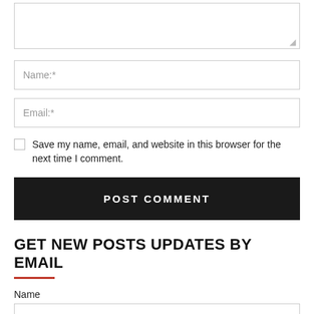[Figure (screenshot): Textarea input box with resize handle in bottom right corner]
[Figure (screenshot): Text input field with placeholder 'Name:*']
[Figure (screenshot): Text input field with placeholder 'Email:*']
Save my name, email, and website in this browser for the next time I comment.
POST COMMENT
GET NEW POSTS UPDATES BY EMAIL
Name